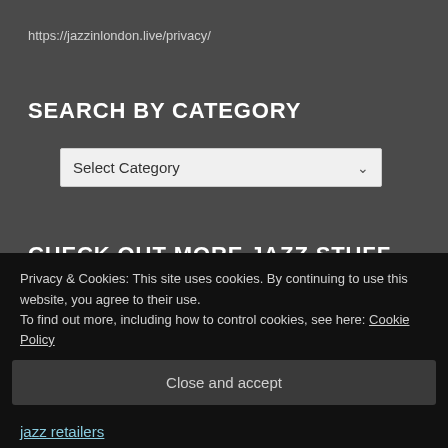https://jazzinlondon.live/privacy/
SEARCH BY CATEGORY
[Figure (screenshot): A dropdown/select box with placeholder text 'Select Category' and a chevron arrow on the right]
CHECK OUT MORE JAZZ STUFF
JAZZLONDONLIVE radio show
jazz archives & radio shows
jazz courses & workshops
Privacy & Cookies: This site uses cookies. By continuing to use this website, you agree to their use.
To find out more, including how to control cookies, see here: Cookie Policy
Close and accept
jazz retailers